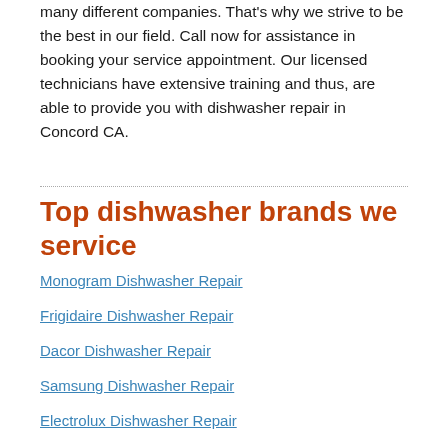many different companies. That's why we strive to be the best in our field. Call now for assistance in booking your service appointment. Our licensed technicians have extensive training and thus, are able to provide you with dishwasher repair in Concord CA.
Top dishwasher brands we service
Monogram Dishwasher Repair
Frigidaire Dishwasher Repair
Dacor Dishwasher Repair
Samsung Dishwasher Repair
Electrolux Dishwasher Repair
Whirlpool Dishwasher Repair
Askona Dishwasher Repair
KitchenAid Dishwasher Repair